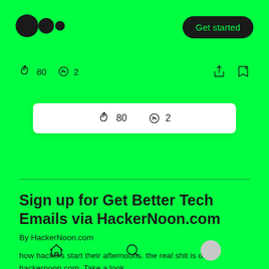[Figure (logo): Medium logo — two overlapping circles and a vertical line]
Get started
80  2
80  2
Sign up for Get Better Tech Emails via HackerNoon.com
By HackerNoon.com
how hackers start their afternoons. the real shit is on hackernoon.com. Take a look.